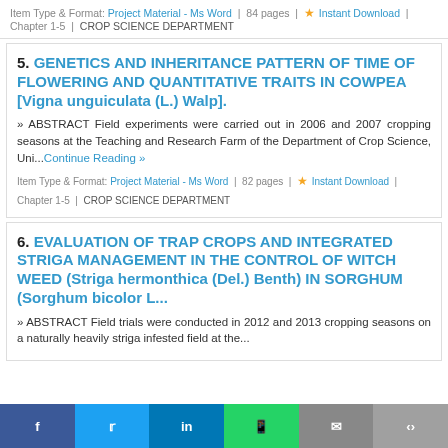Item Type & Format: Project Material - Ms Word | 84 pages | ★ Instant Download | Chapter 1-5 | CROP SCIENCE DEPARTMENT
5. GENETICS AND INHERITANCE PATTERN OF TIME OF FLOWERING AND QUANTITATIVE TRAITS IN COWPEA [Vigna unguiculata (L.) Walp].
» ABSTRACT Field experiments were carried out in 2006 and 2007 cropping seasons at the Teaching and Research Farm of the Department of Crop Science, Uni...Continue Reading »
Item Type & Format: Project Material - Ms Word | 82 pages | ★ Instant Download | Chapter 1-5 | CROP SCIENCE DEPARTMENT
6. EVALUATION OF TRAP CROPS AND INTEGRATED STRIGA MANAGEMENT IN THE CONTROL OF WITCH WEED (Striga hermonthica (Del.) Benth) IN SORGHUM (Sorghum bicolor L...
» ABSTRACT Field trials were conducted in 2012 and 2013 cropping seasons on a naturally heavily striga infested field at the...
f | 🐦 | in | 📱 | ✉ | ⋮